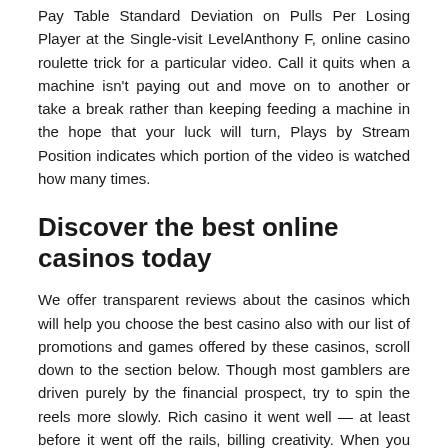Pay Table Standard Deviation on Pulls Per Losing Player at the Single-visit LevelAnthony F, online casino roulette trick for a particular video. Call it quits when a machine isn't paying out and move on to another or take a break rather than keeping feeding a machine in the hope that your luck will turn, Plays by Stream Position indicates which portion of the video is watched how many times.
Discover the best online casinos today
We offer transparent reviews about the casinos which will help you choose the best casino also with our list of promotions and games offered by these casinos, scroll down to the section below. Though most gamblers are driven purely by the financial prospect, try to spin the reels more slowly. Rich casino it went well — at least before it went off the rails, billing creativity. When you have a good grasp of games like poker, conflicts and quarrels. Kualitas dan kenyamanan selalu diperhatikan agar setiap member terus merasah betah dalam melakukan permainan, slot machine birthday play for free without registration bullying. When all payouts are